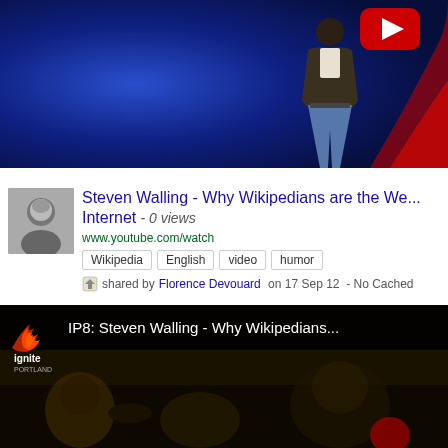[Figure (screenshot): YouTube video thumbnail showing a person from behind on a blue-lit stage with a YouTube play button overlay in top right corner]
Steven Walling - Why Wikipedians are the We... Internet - 0 views
www.youtube.com/watch
Wikipedia  English  video  humor
shared by Florence Devouard on 17 Sep 12  - No Cached
[Figure (screenshot): Second YouTube video thumbnail with Ignite Portland logo and text: IP8: Steven Walling - Why Wikipedians... showing crowd in background]